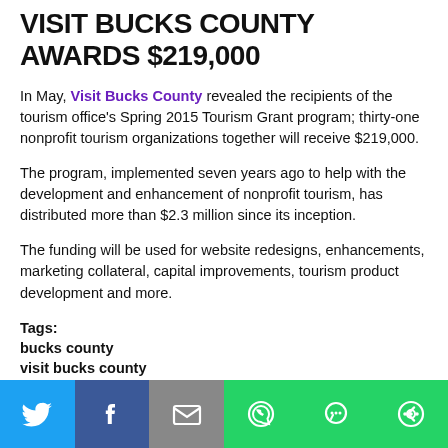VISIT BUCKS COUNTY AWARDS $219,000
In May, Visit Bucks County revealed the recipients of the tourism office's Spring 2015 Tourism Grant program; thirty-one nonprofit tourism organizations together will receive $219,000.
The program, implemented seven years ago to help with the development and enhancement of nonprofit tourism, has distributed more than $2.3 million since its inception.
The funding will be used for website redesigns, enhancements, marketing collateral, capital improvements, tourism product development and more.
Tags:
bucks county
visit bucks county
[Figure (other): Social media sharing bar with Twitter, Facebook, Email, WhatsApp, SMS, and More buttons]